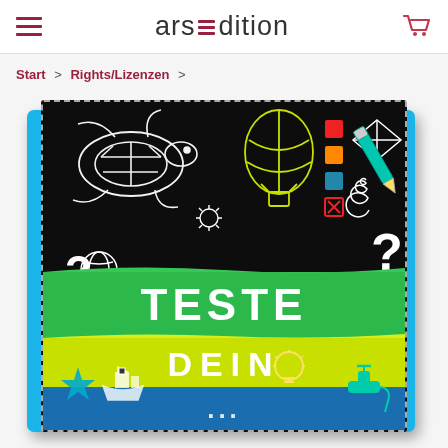ars edition
Start > Rights/Lizenzen >
[Figure (photo): Book cover of 'Teste Dein ...' published by ars edition, featuring a black cover with illustrated elements (turtle, hot air balloon, pencil, star, ship, lightbulb, faucet) and bold white/yellow/green text on colored brush strokes reading 'TESTE DEIN [...]']